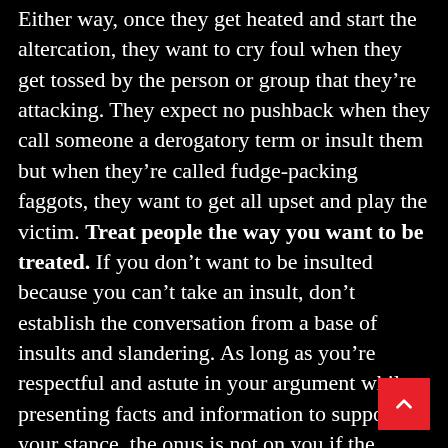Either way, once they get heated and start the altercation, they want to cry foul when they get tossed by the person or group that they're attacking. They expect no pushback when they call someone a derogatory term or insult them but when they're called fudge-packing faggots, they want to get all upset and play the victim. Treat people the way you want to be treated. If you don't want to be insulted because you can't take an insult, don't establish the conversation from a base of insults and slandering. As long as you're respectful and astute in your argument while presenting facts and information to support your stance, the onus is not on you if the argument goes left-field. If a person can't handle the facts that you're presenting and they start cursing you out and calling you names, that's on them. I'd advise that do the best you can to the best of your ability to avoid engaging in